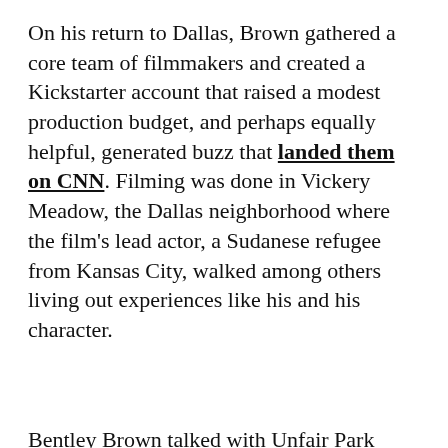On his return to Dallas, Brown gathered a core team of filmmakers and created a Kickstarter account that raised a modest production budget, and perhaps equally helpful, generated buzz that landed them on CNN. Filming was done in Vickery Meadow, the Dallas neighborhood where the film's lead actor, a Sudanese refugee from Kansas City, walked among others living out experiences like his and his character.
Bentley Brown talked with Unfair Park about the film, Faisal Goes West. Here's what he said:
* * *
This story deals with a family that comes from Sudan to Dallas. It's based on a number of stories -- friends of